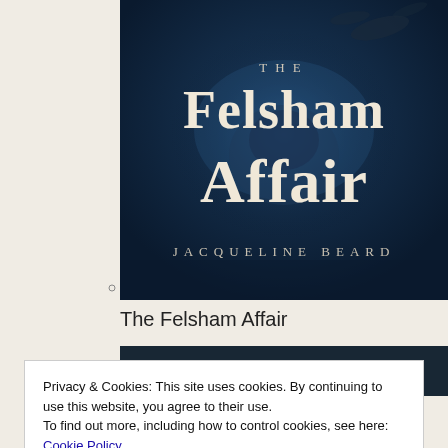[Figure (illustration): Book cover for 'The Felsham Affair' by Jacqueline Beard. Dark blue atmospheric background with fish/sea creatures. Large serif text reads 'THE Felsham Affair' with 'JACQUELINE BEARD' at the bottom.]
The Felsham Affair
[Figure (photo): Partially visible dark image strip below the book title.]
Privacy & Cookies: This site uses cookies. By continuing to use this website, you agree to their use.
To find out more, including how to control cookies, see here: Cookie Policy